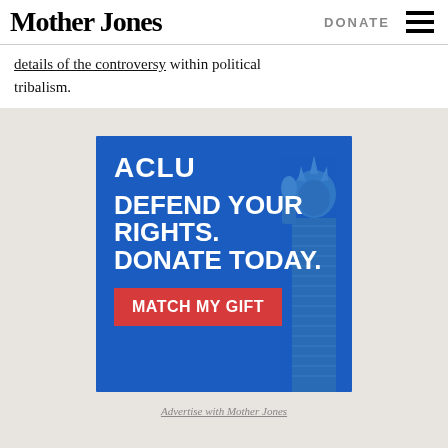Mother Jones | DONATE
…details of the controversy within political tribalism.
[Figure (illustration): ACLU advertisement banner. Blue background with Statue of Liberty torch illustration. Text reads: ACLU / DEFEND YOUR RIGHTS. / DONATE TODAY. / MATCH MY GIFT (red button)]
Advertise with Mother Jones